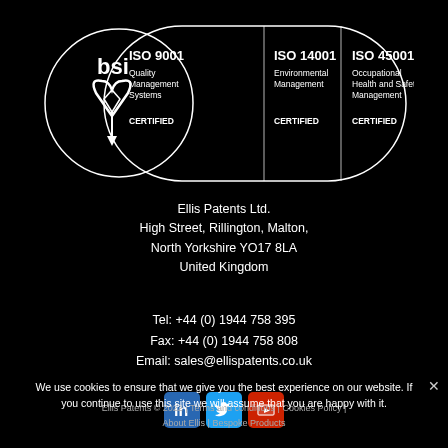[Figure (logo): BSI certification logo showing ISO 9001 Quality Management Systems CERTIFIED, ISO 14001 Environmental Management CERTIFIED, ISO 45001 Occupational Health and Safety Management CERTIFIED]
Ellis Patents Ltd.
High Street, Rillington, Malton,
North Yorkshire YO17 8LA
United Kingdom
Tel: +44 (0) 1944 758 395
Fax: +44 (0) 1944 758 808
Email: sales@ellispatents.co.uk
[Figure (logo): LinkedIn, Twitter, and YouTube social media icons]
We use cookies to ensure that we give you the best experience on our website. If you continue to use this site we will assume that you are happy with it.
Ellis Patents © 2022 | Terms and conditions | Cookies Policy | About Ellis | Bespoke Products